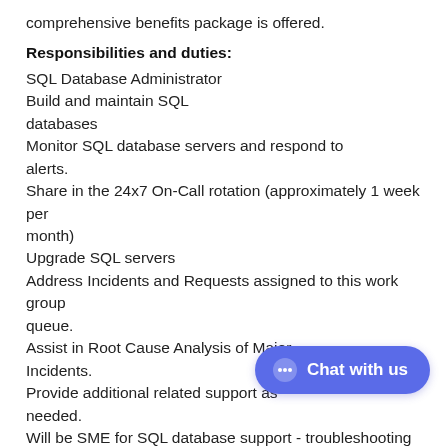comprehensive benefits package is offered.
Responsibilities and duties:
SQL Database Administrator
Build and maintain SQL databases
Monitor SQL database servers and respond to alerts.
Share in the 24x7 On-Call rotation (approximately 1 week per month)
Upgrade SQL servers
Address Incidents and Requests assigned to this work group queue.
Assist in Root Cause Analysis of Major Incidents.
Provide additional related support as needed.
Will be SME for SQL database support - troubleshooting issues, backups, monthly patching, change control on approved governance procedures